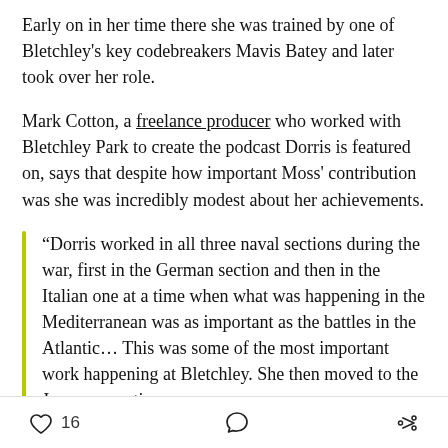Early on in her time there she was trained by one of Bletchley's key codebreakers Mavis Batey and later took over her role.
Mark Cotton, a freelance producer who worked with Bletchley Park to create the podcast Dorris is featured on, says that despite how important Moss' contribution was she was incredibly modest about her achievements.
“Dorris worked in all three naval sections during the war, first in the German section and then in the Italian one at a time when what was happening in the Mediterranean was as important as the battles in the Atlantic… This was some of the most important work happening at Bletchley. She then moved to the Japanese section.
16